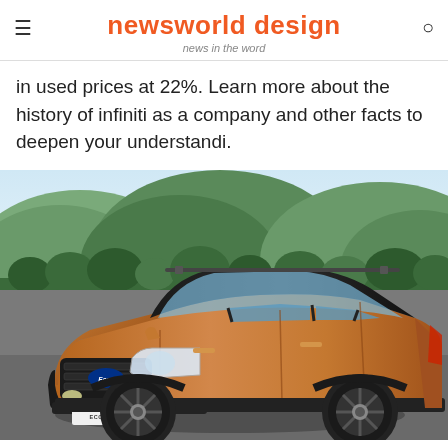newsworld design — news in the word
in used prices at 22%. Learn more about the history of infiniti as a company and other facts to deepen your understandi.
[Figure (photo): Ford EcoSport SUV in copper/bronze color parked in front of a scenic mountain backdrop with green hills and trees. The car is shown from the front-left three-quarter angle. The license plate area shows 'ECOSPORT' branding.]